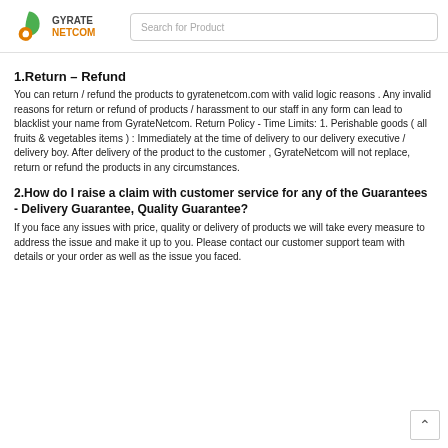GYRATE NETCOM | Search for Product
1.Return – Refund
You can return / refund the products to gyratenetcom.com with valid logic reasons . Any invalid reasons for return or refund of products / harassment to our staff in any form can lead to blacklist your name from GyrateNetcom. Return Policy - Time Limits: 1. Perishable goods ( all fruits & vegetables items ) : Immediately at the time of delivery to our delivery executive / delivery boy. After delivery of the product to the customer , GyrateNetcom will not replace, return or refund the products in any circumstances.
2.How do I raise a claim with customer service for any of the Guarantees - Delivery Guarantee, Quality Guarantee?
If you face any issues with price, quality or delivery of products we will take every measure to address the issue and make it up to you. Please contact our customer support team with details or your order as well as the issue you faced.